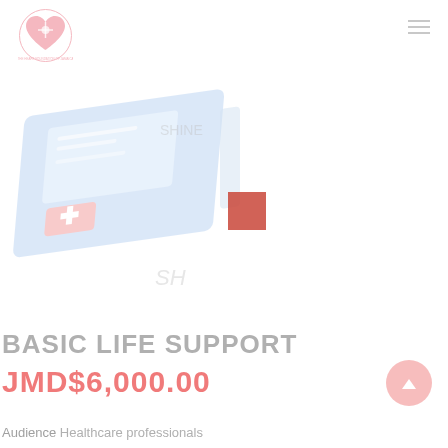[Figure (logo): The Heart Foundation of Jamaica logo — pink heart with a wand/star, circular text around it]
[Figure (photo): A medical/AED defibrillator device shown at an angle, light blue and white coloring, with some red cross symbol, faded/light appearance]
BASIC LIFE SUPPORT
JMD$6,000.00
Audience  Healthcare professionals